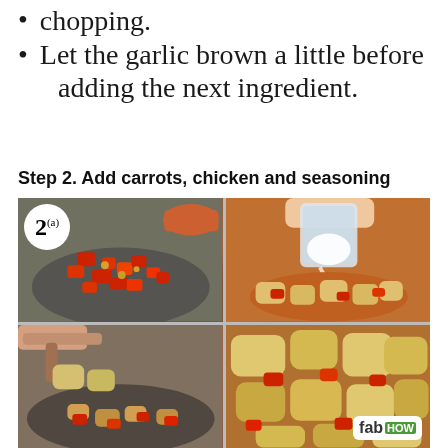chopping.
Let the garlic brown a little before adding the next ingredient.
Step 2. Add carrots, chicken and seasoning
[Figure (photo): Four-panel cooking photo showing: top-left: chopped red peppers being added to a dark skillet with garlic; top-right: a glass jar of salt/seasoning being poured over cooked chicken and carrots in a pan; bottom-left: cooked chicken pieces being added to skillet with red peppers; bottom-right: close-up of cooked chicken pieces with red peppers in the pan. A step number badge '2(a)' is in the top-left corner. A 'fabHOW' logo appears bottom-right.]